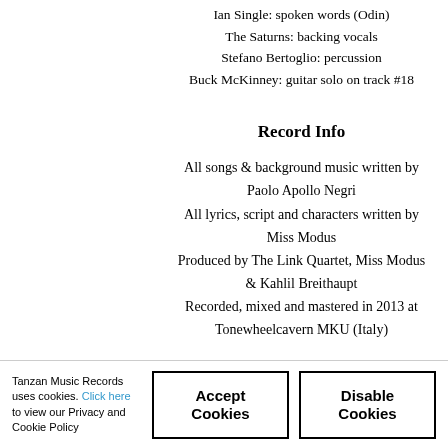Ian Single: spoken words (Odin)
The Saturns: backing vocals
Stefano Bertoglio: percussion
Buck McKinney: guitar solo on track #18
Record Info
All songs & background music written by Paolo Apollo Negri
All lyrics, script and characters written by Miss Modus
Produced by The Link Quartet, Miss Modus & Kahlil Breithaupt
Recorded, mixed and mastered in 2013 at Tonewheelcavern MKU (Italy)
Tanzan Music Records uses cookies. Click here to view our Privacy and Cookie Policy
Accept Cookies
Disable Cookies